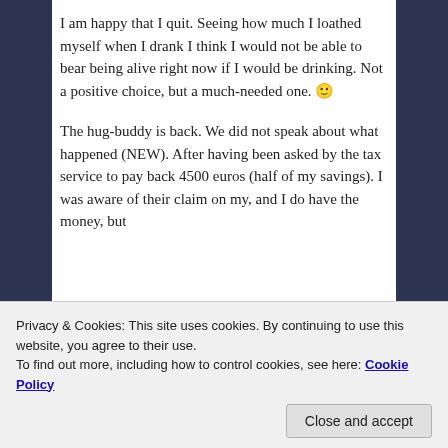I am happy that I quit. Seeing how much I loathed myself when I drank I think I would not be able to bear being alive right now if I would be drinking. Not a positive choice, but a much-needed one. 🙂
The hug-buddy is back. We did not speak about what happened (NEW). After having been asked by the tax service to pay back 4500 euros (half of my savings). I was aware of their claim on my, and I do have the money, but
Privacy & Cookies: This site uses cookies. By continuing to use this website, you agree to their use.
To find out more, including how to control cookies, see here: Cookie Policy